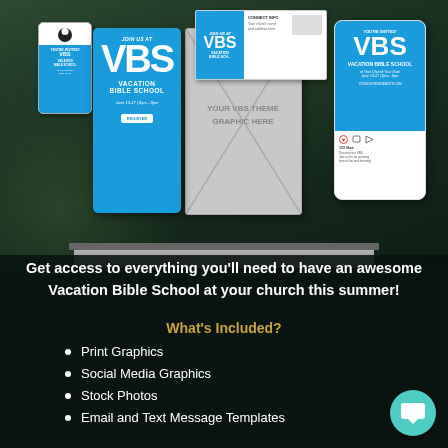[Figure (illustration): VBS (Vacation Bible School) promotional mockup showing laptop with VBS graphics, door hanger, flyer, and Instagram post mockups on a dark background with children in background]
Get access to everything you'll need to have an awesome Vacation Bible School at your church this summer!
What's Included?
Print Graphics
Social Media Graphics
Stock Photos
Email and Text Message Templates